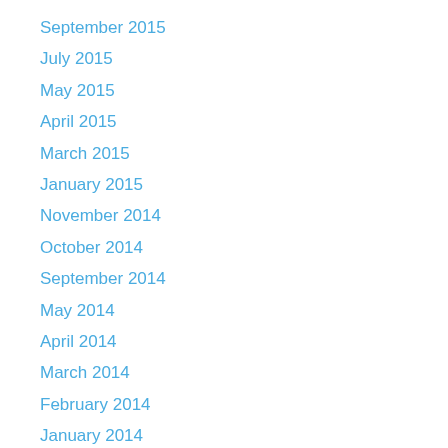September 2015
July 2015
May 2015
April 2015
March 2015
January 2015
November 2014
October 2014
September 2014
May 2014
April 2014
March 2014
February 2014
January 2014
November 2013
October 2013
September 2013
August 2013
June 2013
May 2013